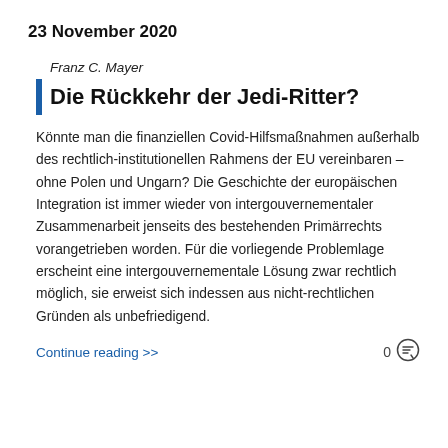23 November 2020
Franz C. Mayer
Die Rückkehr der Jedi-Ritter?
Könnte man die finanziellen Covid-Hilfsmaßnahmen außerhalb des rechtlich-institutionellen Rahmens der EU vereinbaren – ohne Polen und Ungarn? Die Geschichte der europäischen Integration ist immer wieder von intergouvernementaler Zusammenarbeit jenseits des bestehenden Primärrechts vorangetrieben worden. Für die vorliegende Problemlage erscheint eine intergouvernementale Lösung zwar rechtlich möglich, sie erweist sich indessen aus nicht-rechtlichen Gründen als unbefriedigend.
Continue reading >>
0